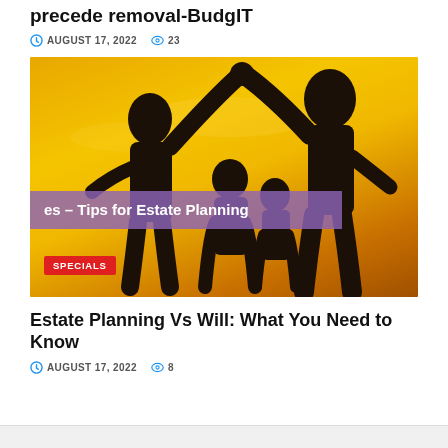precede removal-BudgIT
AUGUST 17, 2022   23
[Figure (photo): Silhouette of a family (two adults and two children) forming a house shape with their arms raised against a golden sunset sky, with a purple overlay banner reading 'es – Tips for Estate Planning' and a red SPECIALS badge]
Estate Planning Vs Will: What You Need to Know
AUGUST 17, 2022   8